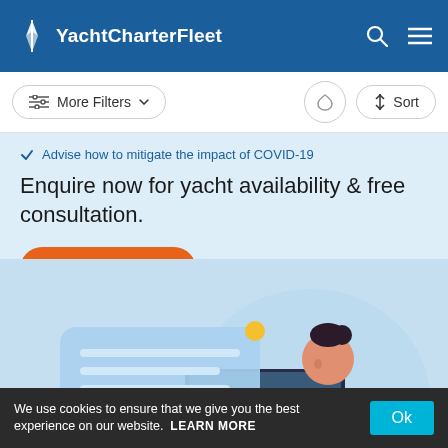YachtCharterFleet
More Filters  ↑↓ Sort
✓ Advise how to mitigate the impact of COVID-19
Enquire now for yacht availability & free consultation.
Contact Now
[Figure (illustration): Illustration of a woman sitting at a laptop with a chat message bubble, on a light blue background]
We use cookies to ensure that we give you the best experience on our website.  LEARN MORE